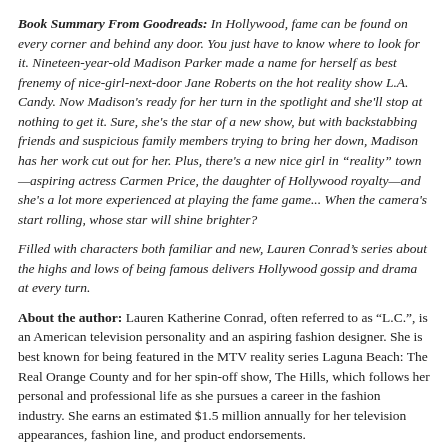Book Summary From Goodreads: In Hollywood, fame can be found on every corner and behind any door. You just have to know where to look for it. Nineteen-year-old Madison Parker made a name for herself as best frenemy of nice-girl-next-door Jane Roberts on the hot reality show L.A. Candy. Now Madison's ready for her turn in the spotlight and she'll stop at nothing to get it. Sure, she's the star of a new show, but with backstabbing friends and suspicious family members trying to bring her down, Madison has her work cut out for her. Plus, there's a new nice girl in "reality" town—aspiring actress Carmen Price, the daughter of Hollywood royalty—and she's a lot more experienced at playing the fame game... When the camera's start rolling, whose star will shine brighter?
Filled with characters both familiar and new, Lauren Conrad's series about the highs and lows of being famous delivers Hollywood gossip and drama at every turn.
About the author: Lauren Katherine Conrad, often referred to as "L.C.", is an American television personality and an aspiring fashion designer. She is best known for being featured in the MTV reality series Laguna Beach: The Real Orange County and for her spin-off show, The Hills, which follows her personal and professional life as she pursues a career in the fashion industry. She earns an estimated $1.5 million annually for her television appearances, fashion line, and product endorsements. Find Lauren on Harper Teen/ Facebook/ Goodreads/ Twitter/ Her